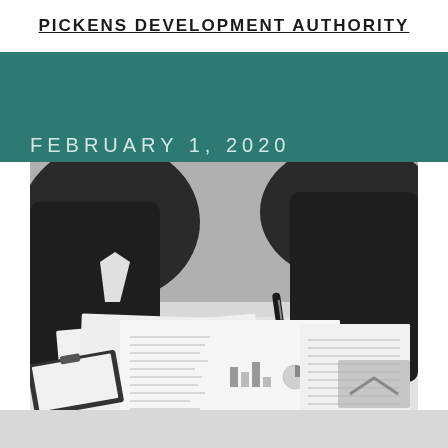PICKENS DEVELOPMENT AUTHORITY
FEBRUARY 1, 2020
[Figure (photo): Black and white photograph of two people in business attire reviewing financial documents and charts on a table, each holding a pen]